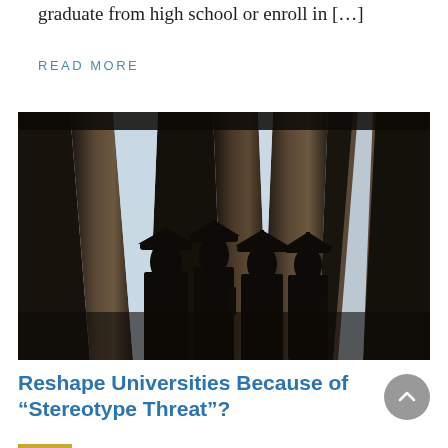graduate from high school or enroll in […]
READ MORE
[Figure (photo): Silhouette of four graduates in caps and gowns standing between large classical columns against a bright sky]
Reshape Universities Because of “Stereotype Threat”?